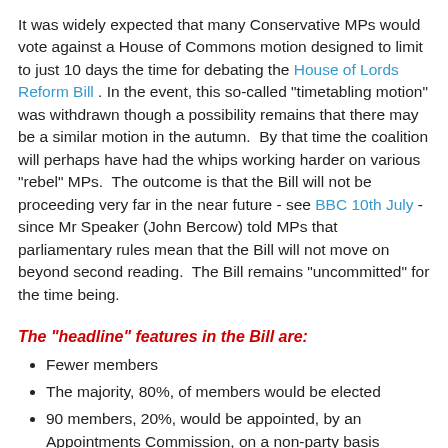It was widely expected that many Conservative MPs would vote against a House of Commons motion designed to limit to just 10 days the time for debating the House of Lords Reform Bill . In the event, this so-called "timetabling motion" was withdrawn though a possibility remains that there may be a similar motion in the autumn.  By that time the coalition will perhaps have had the whips working harder on various "rebel" MPs.  The outcome is that the Bill will not be proceeding very far in the near future - see BBC 10th July - since Mr Speaker (John Bercow) told MPs that parliamentary rules mean that the Bill will not move on beyond second reading.  The Bill remains "uncommitted" for the time being.
The "headline" features in the Bill are:
Fewer members
The majority, 80%, of members would be elected
90 members, 20%, would be appointed, by an Appointments Commission, on a non-party basis
Time-limited membership - Once elected, peers would serve a non-renewable 15-year term instead of